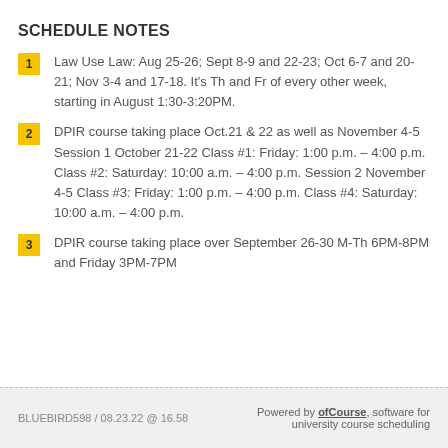SCHEDULE NOTES
Law Use Law: Aug 25-26; Sept 8-9 and 22-23; Oct 6-7 and 20-21; Nov 3-4 and 17-18. It's Th and Fr of every other week, starting in August 1:30-3:20PM.
DPIR course taking place Oct.21 & 22 as well as November 4-5 Session 1 October 21-22 Class #1: Friday: 1:00 p.m. – 4:00 p.m. Class #2: Saturday: 10:00 a.m. – 4:00 p.m. Session 2 November 4-5 Class #3: Friday: 1:00 p.m. – 4:00 p.m. Class #4: Saturday: 10:00 a.m. – 4:00 p.m.
DPIR course taking place over September 26-30 M-Th 6PM-8PM and Friday 3PM-7PM
BLUEBIRD598 / 08.23.22 @ 16.58 | Powered by ofCourse, software for university course scheduling